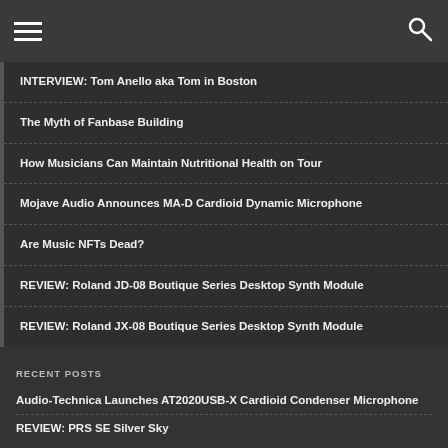≡  🔍
INTERVIEW: Tom Anello aka Tom in Boston
The Myth of Fanbase Building
How Musicians Can Maintain Nutritional Health on Tour
Mojave Audio Announces MA-D Cardioid Dynamic Microphone
Are Music NFTs Dead?
REVIEW: Roland JD-08 Boutique Series Desktop Synth Module
REVIEW: Roland JX-08 Boutique Series Desktop Synth Module
RECENT POSTS
Audio-Technica Launches AT2020USB-X Cardioid Condenser Microphone
REVIEW: PRS SE Silver Sky